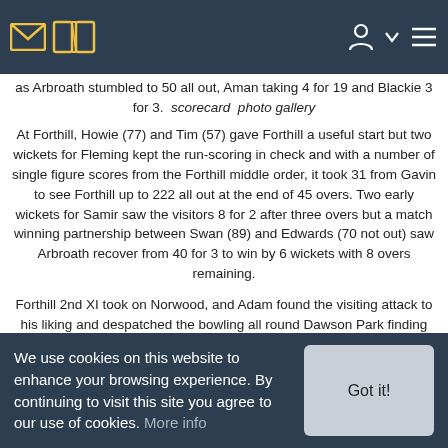Navigation bar with envelope icon, book icon, user icon, chevron, and menu icon
as Arbroath stumbled to 50 all out, Aman taking 4 for 19 and Blackie 3 for 3.  scorecard  photo gallery
At Forthill, Howie (77) and Tim (57) gave Forthill a useful start but two wickets for Fleming kept the run-scoring in check and with a number of single figure scores from the Forthill middle order, it took 31 from Gavin to see Forthill up to 222 all out at the end of 45 overs. Two early wickets for Samir saw the visitors 8 for 2 after three overs but a match winning partnership between Swan (89) and Edwards (70 not out) saw Arbroath recover from 40 for 3 to win by 6 wickets with 8 overs remaining.
Forthill 2nd XI took on Norwood, and Adam found the visiting attack to his liking and despatched the bowling all round Dawson Park finding the boundary 14 times during an innings of 102, and with support from Clark (36) and Glenn (33) Forthill 2nd XI recorded 285 for 8 after 45 overs. Three wickets each for Andy (3 for 22) and Morgan (3 for 5) gave Norwood no hope of chasing down the required total and along with 2 for 29 for Hogi, saw Norwood all out for 122.  scorecard and match report
First Win for 4th Team
On Sunday, Forthill 3rd XI celebrated a maiden victory when they won against Freuchie XI by 3 wickets. Batting first, Fraser took 2for 19 as
We use cookies on this website to enhance your browsing experience. By continuing to visit this site you agree to our use of cookies. More info
Got it!